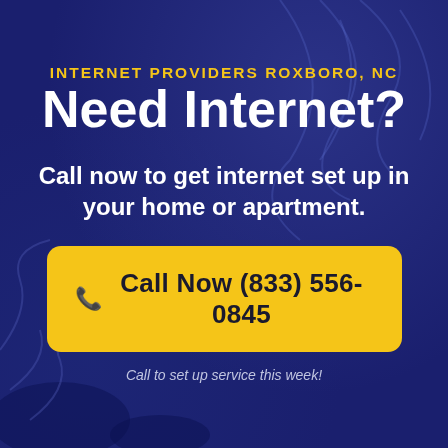INTERNET PROVIDERS ROXBORO, NC
Need Internet?
Call now to get internet set up in your home or apartment.
📞 Call Now (833) 556-0845
Call to set up service this week!